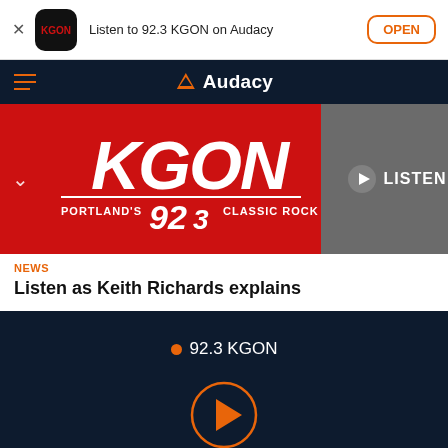[Figure (screenshot): App install banner with KGON radio app icon, text 'Listen to 92.3 KGON on Audacy', and an OPEN button]
Audacy navigation bar with hamburger menu and Audacy logo
[Figure (logo): KGON 92.3 Portland's Classic Rock logo on red background with LISTEN button]
NEWS
Listen as Keith Richards explains
92.3 KGON
[Figure (infographic): Orange circular play button for the radio player]